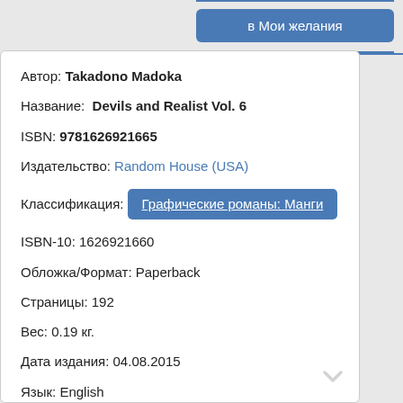в Мои желания
Автор: Takadono Madoka
Название: Devils and Realist Vol. 6
ISBN: 9781626921665
Издательство: Random House (USA)
Классификация: Графические романы: Манги
ISBN-10: 1626921660
Обложка/Формат: Paperback
Страницы: 192
Вес: 0.19 кг.
Дата издания: 04.08.2015
Язык: English